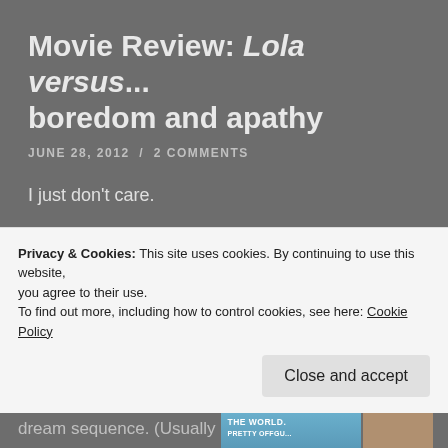Movie Review: Lola versus... boredom and apathy
JUNE 28, 2012  /  2 COMMENTS
I just don't care.
That was my dominant emotion while watching Lola versus.  As this young 29-year old battles an aborted romance, the tightrope of clubbing, parental micro-managing, and the demands and restraints of friendship,
Privacy & Cookies: This site uses cookies. By continuing to use this website, you agree to their use.
To find out more, including how to control cookies, see here: Cookie Policy
Close and accept
dream sequence. (Usually